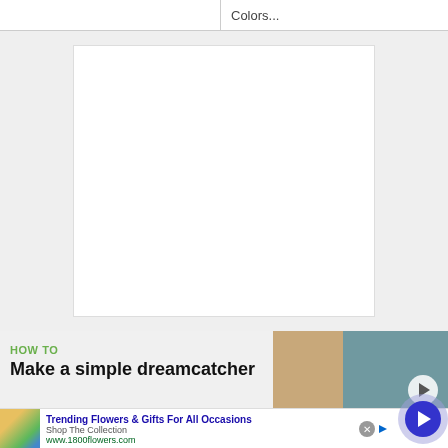Colors...
[Figure (other): White blank rectangular area on light grey background]
HOW TO
Make a simple dreamcatcher
[Figure (photo): Thumbnail image showing hands crafting, with play button overlay]
[Figure (photo): Advertisement banner: Trending Flowers & Gifts For All Occasions - Shop The Collection - www.1800flowers.com, with flower photo and navigation arrow button]